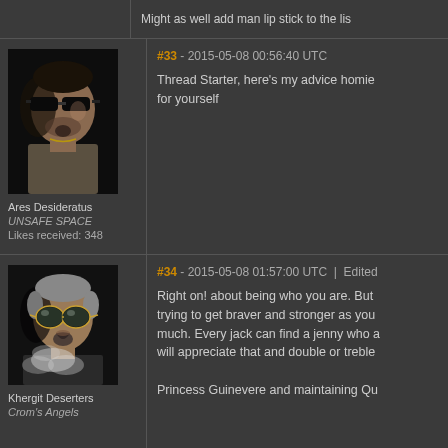Might as well add man lip stick to the lis
[Figure (photo): Avatar of forum user Ares Desideratus - a man with dark sunglasses in shadow]
Ares Desideratus
UNSAFE SPACE
Likes received: 348
#33 - 2015-05-08 00:56:40 UTC
Thread Starter, here's my advice homie for yourself
[Figure (photo): Avatar of forum user Khergit Deserters - a man with aviator sunglasses and smoke/vapor]
Khergit Deserters
Crom's Angels
#34 - 2015-05-08 01:57:00 UTC  |  Edited
Right on! about being who you are. But trying to get braver and stronger as you much. Every jack can find a jenny who a will appreciate that and double or treble Princess Guinevere and maintaining Qu